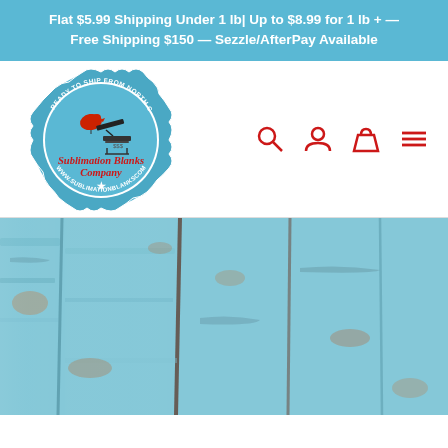Flat $5.99 Shipping Under 1 lb| Up to $8.99 for 1 lb + — Free Shipping $150 — Sezzle/AfterPay Available
[Figure (logo): Sublimation Blanks Company logo: a round blue badge with scalloped edges, a red cardinal bird sitting on a heat press machine with $$$, text reading 'READY TO SHIP FROM NORTH CAROLINA, USA' around the top, 'Sublimation Blanks Company' in red script in the center, a white star, and 'www.sublimationblankscompany.com' around the bottom]
[Figure (illustration): Navigation icons: search magnifying glass, user/person icon, shopping bag/cart icon, and hamburger menu icon — all in red]
[Figure (photo): Weathered light blue/teal painted wood planks background image, showing aged paint and natural wood grain texture]